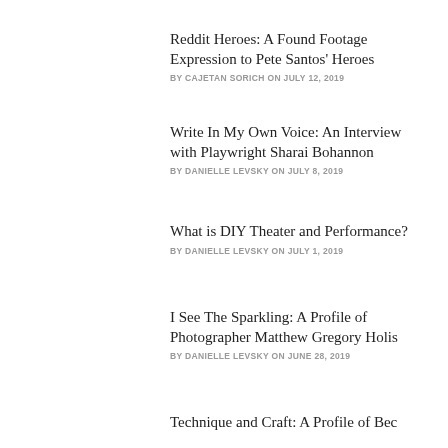Reddit Heroes: A Found Footage Expression to Pete Santos' Heroes
BY CAJETAN SORICH ON JULY 12, 2019
Write In My Own Voice: An Interview with Playwright Sharai Bohannon
BY DANIELLE LEVSKY ON JULY 8, 2019
What is DIY Theater and Performance?
BY DANIELLE LEVSKY ON JULY 1, 2019
I See The Sparkling: A Profile of Photographer Matthew Gregory Holis
BY DANIELLE LEVSKY ON JUNE 28, 2019
Technique and Craft: A Profile of Bec